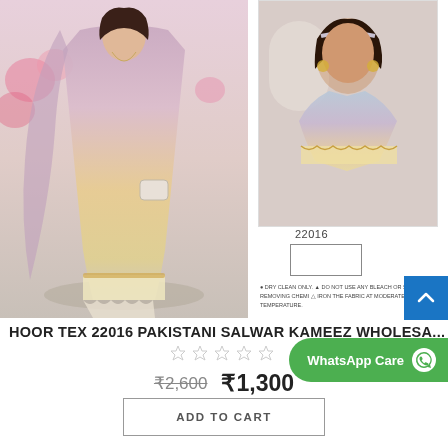[Figure (photo): Main product image: woman wearing Pakistani salwar kameez in pink/yellow gradient with embroidered hem and lace border, holding a white bag, standing in floral setting.]
[Figure (photo): Side product image: close-up of woman wearing same Pakistani salwar kameez showing embroidered sleeve detail. Label 22016 below image.]
22016
DRY CLEAN ONLY.
DO NOT USE ANY BLEACH OR STAIN REMOVING CHEMI
IRON THE FABRIC AT MODERATE TEMPERATURE.
HOOR TEX 22016 PAKISTANI SALWAR KAMEEZ WHOLESA...
★ ★ ★ ★ ★
WhatsApp Care
₹2,600  ₹1,300
ADD TO CART